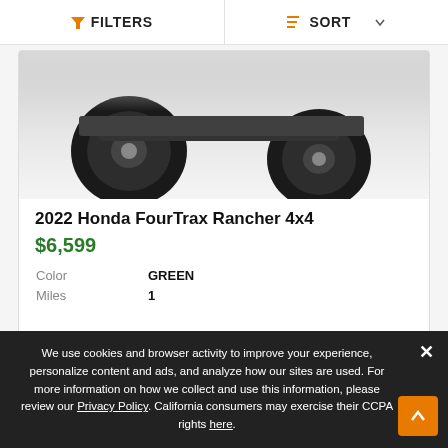FILTERS  SORT
[Figure (photo): Partial bottom view of a Honda FourTrax Rancher 4x4 ATV showing wheels and undercarriage in black and white]
2022 Honda FourTrax Rancher 4x4
$6,599
|  |  |
| --- | --- |
| Color | GREEN |
| Miles | 1 |
[Figure (other): Partial vehicle listing card with image placeholder icon and favorite/compare action buttons]
We use cookies and browser activity to improve your experience, personalize content and ads, and analyze how our sites are used. For more information on how we collect and use this information, please review our Privacy Policy. California consumers may exercise their CCPA rights here.